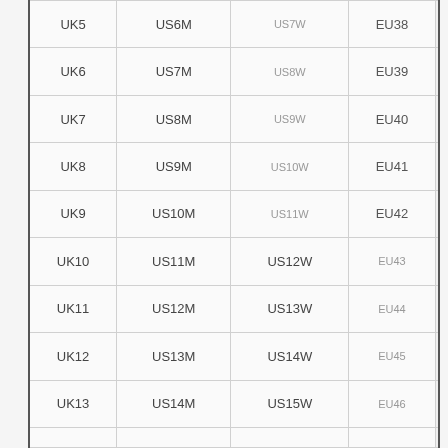| UK | US Men | US Women | EU |  |
| --- | --- | --- | --- | --- |
| UK5 | US6M | US7W | EU38 |  |
| UK6 | US7M | US8W | EU39 |  |
| UK7 | US8M | US9W | EU40 |  |
| UK8 | US9M | US10W | EU41 |  |
| UK9 | US10M | US11W | EU42 |  |
| UK10 | US11M | US12W | EU43 |  |
| UK11 | US12M | US13W | EU44 |  |
| UK12 | US13M | US14W | EU45 |  |
| UK13 | US14M | US15W | EU46 |  |
|  |  |  |  |  |